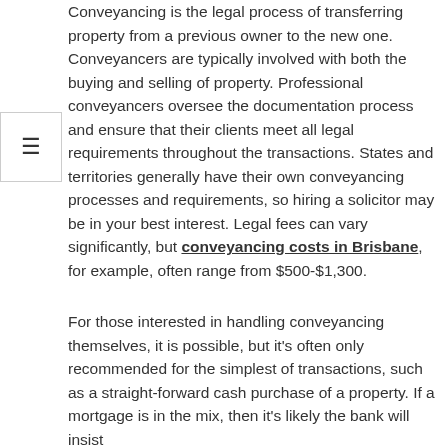Conveyancing is the legal process of transferring property from a previous owner to the new one. Conveyancers are typically involved with both the buying and selling of property. Professional conveyancers oversee the documentation process and ensure that their clients meet all legal requirements throughout the transactions. States and territories generally have their own conveyancing processes and requirements, so hiring a solicitor may be in your best interest. Legal fees can vary significantly, but conveyancing costs in Brisbane, for example, often range from $500-$1,300.
For those interested in handling conveyancing themselves, it is possible, but it's often only recommended for the simplest of transactions, such as a straight-forward cash purchase of a property. If a mortgage is in the mix, then it's likely the bank will insist